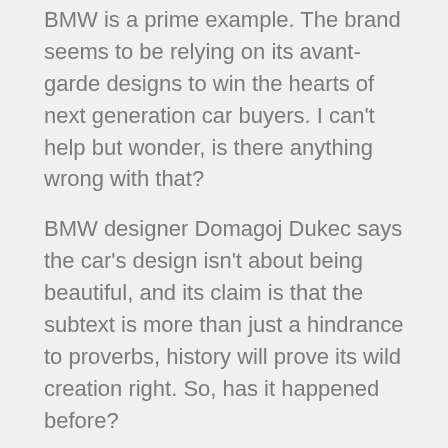BMW is a prime example. The brand seems to be relying on its avant-garde designs to win the hearts of next generation car buyers. I can't help but wonder, is there anything wrong with that?
BMW designer Domagoj Dukec says the car's design isn't about being beautiful, and its claim is that the subtext is more than just a hindrance to proverbs, history will prove its wild creation right. So, has it happened before?
In particular, which controversial design age has been better? Since we started talking about BMW, we can continue too, and I would say that many of the brand's harmful bangle eras don't actually look too bad these days.
Read more: BMW's design director says brand